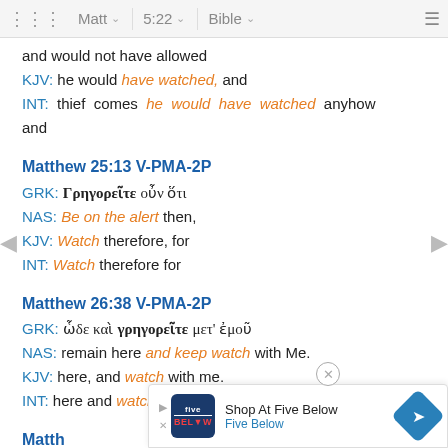Matt 5:22 Bible
and would not have allowed
KJV: he would have watched, and
INT: thief comes he would have watched anyhow and
Matthew 25:13 V-PMA-2P
GRK: Γρηγορεῖτε οὖν ὅτι
NAS: Be on the alert then,
KJV: Watch therefore, for
INT: Watch therefore for
Matthew 26:38 V-PMA-2P
GRK: ὧδε καὶ γρηγορεῖτε μετ' ἐμοῦ
NAS: remain here and keep watch with Me.
KJV: here, and watch with me.
INT: here and watch with me
Matthew ...
[Figure (screenshot): Advertisement overlay: Five Below shop advertisement with logo and navigation arrow icon]